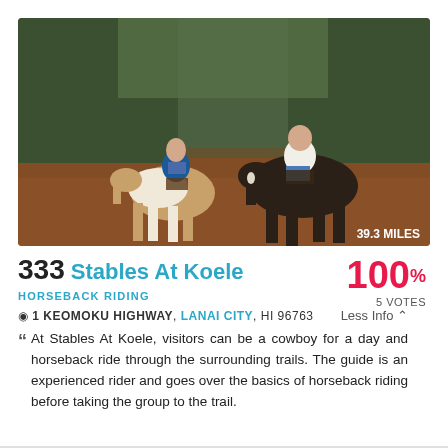[Figure (photo): Two people horseback riding along a dirt trail surrounded by trees. A woman in a blue shirt rides a pinto horse on the left, and a man in a white shirt rides a dark horse on the right. Red dirt ground visible. Badge reads '39.3 MILES'.]
333 Stables At Koele
100% 5 VOTES
HORSEBACK RIDING
1 KEOMOKU HIGHWAY, LANAI CITY, HI 96763  Less Info ^
At Stables At Koele, visitors can be a cowboy for a day and horseback ride through the surrounding trails. The guide is an experienced rider and goes over the basics of horseback riding before taking the group to the trail.